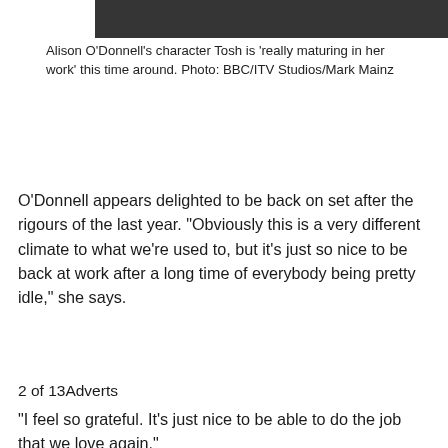[Figure (photo): Bottom portion of a photo showing a person in dark clothing, cropped at the top of the page]
Alison O’Donnell’s character Tosh is ‘really maturing in her work’ this time around. Photo: BBC/ITV Studios/Mark Mainz
O’Donnell appears delighted to be back on set after the rigours of the last year. “Obviously this is a very different climate to what we’re used to, but it’s just so nice to be back at work after a long time of everybody being pretty idle,” she says.
2 of 13Adverts
“I feel so grateful. It’s just nice to be able to do the job that we love again.”
Her character Tosh, someone fan favourite for her rapport with the more austere Perez, is “really maturing in her work” this time around.
“When we first met her in the pilot, she was a real rookie,” O’Donnell says.
“The writers have really allowed that to grow over the series and then this season in particular I think she’s become really…
This website uses cookies to ensure you get the best experience on our website.